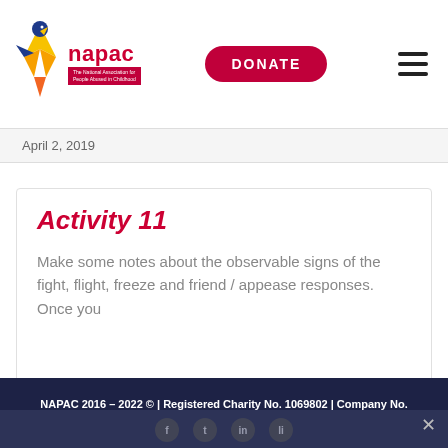napac - The National Association for People Abused in Childhood | DONATE
April 2, 2019
Activity 11
Make some notes about the observable signs of the fight, flight, freeze and friend / appease responses. Once you
NAPAC 2016 – 2022 © | Registered Charity No. 1069802 | Company No. 3565696
Disclaimer: We use cookies to optimise your experience on our website. By continuing to interact with the website you are accepting the use of said cookies.
QUICK EXIT
OK